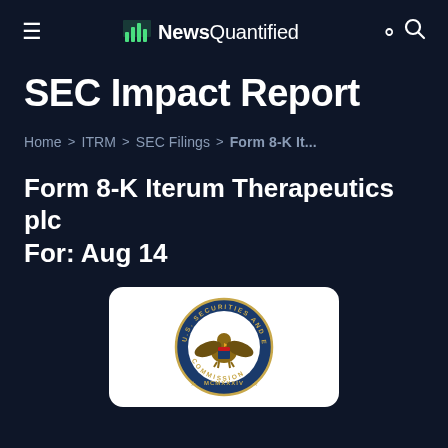NewsQuantified
SEC Impact Report
Home > ITRM > SEC Filings > Form 8-K It...
Form 8-K Iterum Therapeutics plc For: Aug 14
[Figure (logo): U.S. Securities and Exchange Commission seal/logo inside a white rounded card]